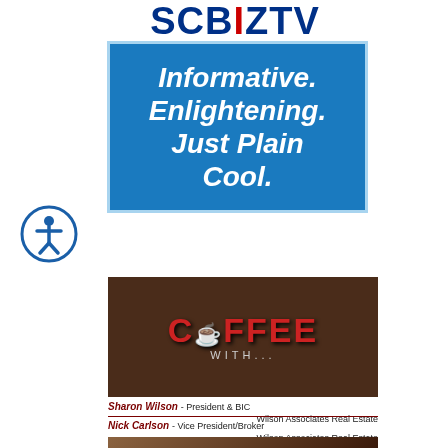[Figure (logo): SCBIZ TV logo with SC in blue, BIZ in red, TV in blue lettering]
[Figure (infographic): Blue box advertisement with white italic bold text: Informative. Enlightening. Just Plain Cool.]
[Figure (logo): Accessibility icon - person in circle]
[Figure (photo): Coffee With... TV show banner on dark brown background with red stylized COFFEE text and WITH... subtitle]
Sharon Wilson - President & BIC Wilson Associates Real Estate
Nick Carlson - Vice President/Broker Wilson Associates Real Estate
[Figure (screenshot): Video thumbnail showing two people sitting with a play button overlay]